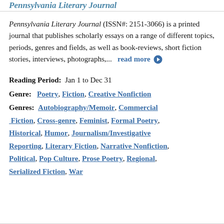Pennsylvania Literary Journal
Pennsylvania Literary Journal (ISSN#: 2151-3066) is a printed journal that publishes scholarly essays on a range of different topics, periods, genres and fields, as well as book-reviews, short fiction stories, interviews, photographs,... read more
Reading Period: Jan 1 to Dec 31
Genre: Poetry, Fiction, Creative Nonfiction
Genres: Autobiography/Memoir, Commercial Fiction, Cross-genre, Feminist, Formal Poetry, Historical, Humor, Journalism/Investigative Reporting, Literary Fiction, Narrative Nonfiction, Political, Pop Culture, Prose Poetry, Regional, Serialized Fiction, War